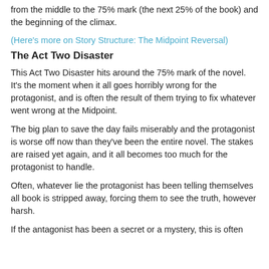from the middle to the 75% mark (the next 25% of the book) and the beginning of the climax.
(Here's more on Story Structure: The Midpoint Reversal)
The Act Two Disaster
This Act Two Disaster hits around the 75% mark of the novel. It's the moment when it all goes horribly wrong for the protagonist, and is often the result of them trying to fix whatever went wrong at the Midpoint.
The big plan to save the day fails miserably and the protagonist is worse off now than they've been the entire novel. The stakes are raised yet again, and it all becomes too much for the protagonist to handle.
Often, whatever lie the protagonist has been telling themselves all book is stripped away, forcing them to see the truth, however harsh.
If the antagonist has been a secret or a mystery, this is often